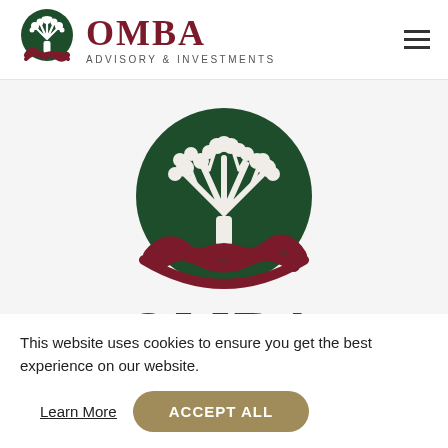[Figure (logo): OMBA Advisory & Investments logo in navbar: circular green tree with dark red roots, next to OMBA text in dark red serif font and 'ADVISORY & INVESTMENTS' in small caps below]
[Figure (logo): OMBA large centered logo: large circular green background with white tree illustration and dark red root arc, with OMBA text below in large dark red serif font]
This website uses cookies to ensure you get the best experience on our website.
Learn More
ACCEPT ALL